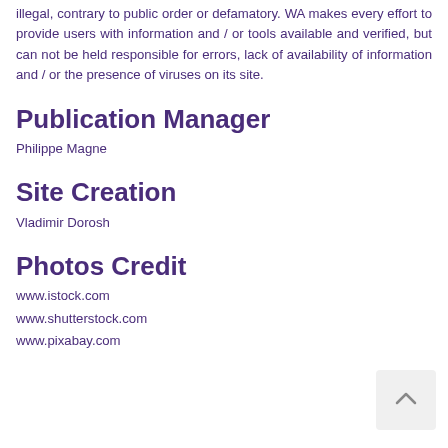illegal, contrary to public order or defamatory. WA makes every effort to provide users with information and / or tools available and verified, but can not be held responsible for errors, lack of availability of information and / or the presence of viruses on its site.
Publication Manager
Philippe Magne
Site Creation
Vladimir Dorosh
Photos Credit
www.istock.com
www.shutterstock.com
www.pixabay.com